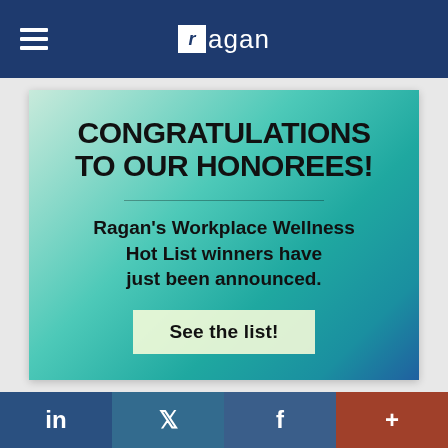ragan
[Figure (infographic): Promotional card with gradient background (green to teal to blue) containing congratulations message for Ragan's Workplace Wellness Hot List honorees, with a 'See the list!' call-to-action button]
CONGRATULATIONS TO OUR HONOREES!
Ragan's Workplace Wellness Hot List winners have just been announced.
See the list!
in  f  +